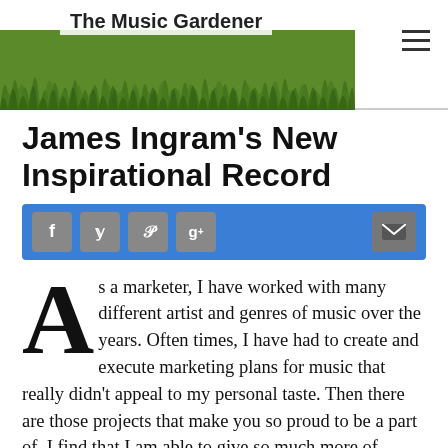The Music Gardener
James Ingram's New Inspirational Record
[Figure (other): Social sharing bar with Facebook, Twitter, Pinterest, Google+, and email buttons on a blue background]
As a marketer, I have worked with many different artist and genres of music over the years. Often times, I have had to create and execute marketing plans for music that really didn't appeal to my personal taste. Then there are those projects that make you so proud to be a part of. I find that I am able to give so much more of myself when working records that I enjoy.